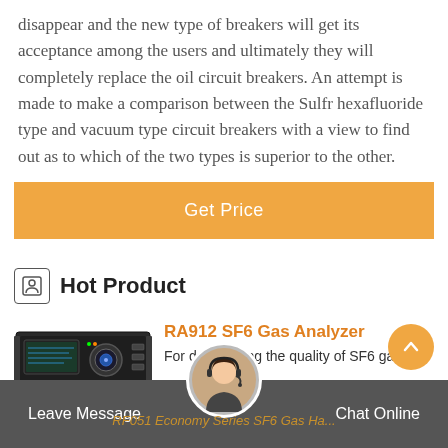disappear and the new type of breakers will get its acceptance among the users and ultimately they will completely replace the oil circuit breakers. An attempt is made to make a comparison between the Sulfr hexafluoride type and vacuum type circuit breakers with a view to find out as to which of the two types is superior to the other.
[Figure (other): Orange 'Get Price' button]
Hot Product
[Figure (photo): Photo of RA912 SF6 Gas Analyzer device - a rack-mount instrument with display and controls]
RA912 SF6 Gas Analyzer
For determining the quality of SF6 gas.
Leave Message   RF051 Economy Series SF6 Gas Ha...   Chat Online